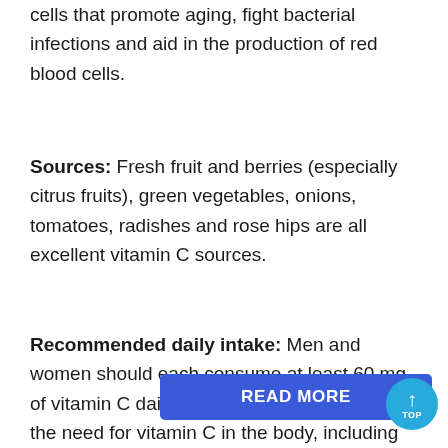cells that promote aging, fight bacterial infections and aid in the production of red blood cells.
Sources: Fresh fruit and berries (especially citrus fruits), green vegetables, onions, tomatoes, radishes and rose hips are all excellent vitamin C sources.
Recommended daily intake: Men and women should each consume at least 60 mg of vitamin C daily. Many things can increase the need for vitamin C in the body, including stress and smoking. For smokers, recommended intake increases to 95 mg for women and 125 mg for men. Still, not getting enough vitamin C can